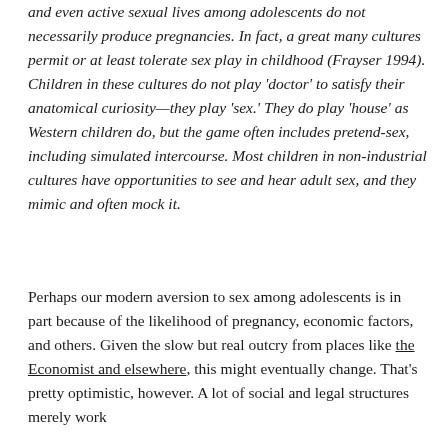and even active sexual lives among adolescents do not necessarily produce pregnancies. In fact, a great many cultures permit or at least tolerate sex play in childhood (Frayser 1994). Children in these cultures do not play 'doctor' to satisfy their anatomical curiosity—they play 'sex.' They do play 'house' as Western children do, but the game often includes pretend-sex, including simulated intercourse. Most children in non-industrial cultures have opportunities to see and hear adult sex, and they mimic and often mock it.
Perhaps our modern aversion to sex among adolescents is in part because of the likelihood of pregnancy, economic factors, and others. Given the slow but real outcry from places like the Economist and elsewhere, this might eventually change. That's pretty optimistic, however. A lot of social and legal structures merely work